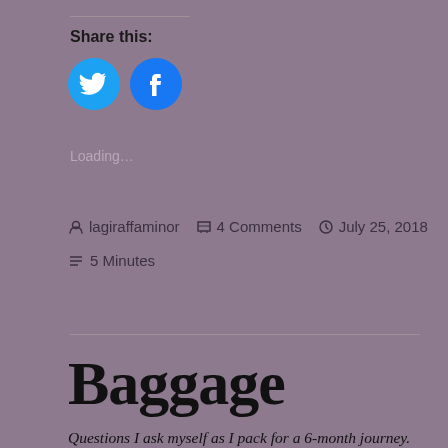Share this:
[Figure (illustration): Two circular social media icons: Twitter (blue bird) and Facebook (blue f)]
Loading…
lagiraffaminor   4 Comments   July 25, 2018   5 Minutes
Baggage
Questions I ask myself as I pack for a 6-month journey. What packing tips do you have?